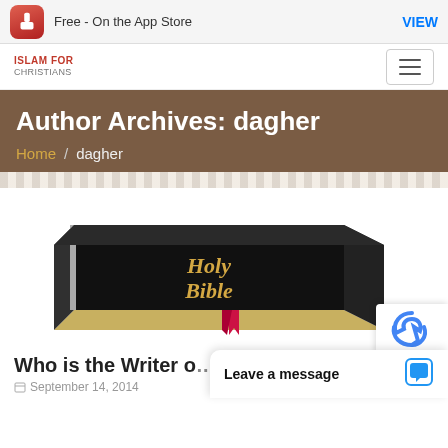Free - On the App Store  VIEW
[Figure (logo): Islam For Christians website logo]
Author Archives: dagher
Home / dagher
[Figure (photo): Holy Bible book illustration on white background]
Who is the Writer o...
September 14, 2014
Leave a message